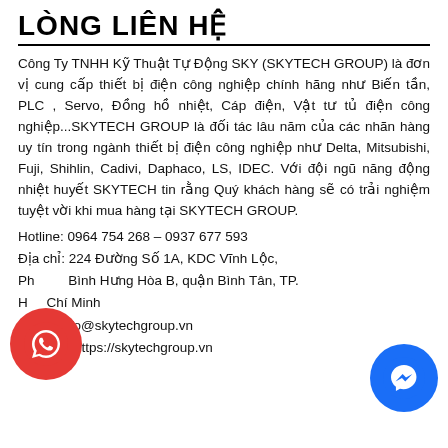LÒNG LIÊN HỆ
Công Ty TNHH Kỹ Thuật Tự Động SKY (SKYTECH GROUP) là đơn vị cung cấp thiết bị điện công nghiệp chính hãng như Biến tần, PLC , Servo, Đồng hồ nhiệt, Cáp điện, Vật tư tủ điện công nghiệp...SKYTECH GROUP là đối tác lâu năm của các nhãn hàng uy tín trong ngành thiết bị điện công nghiệp như Delta, Mitsubishi, Fuji, Shihlin, Cadivi, Daphaco, LS, IDEC. Với đội ngũ năng động nhiệt huyết SKYTECH tin rằng Quý khách hàng sẽ có trải nghiệm tuyệt vời khi mua hàng tại SKYTECH GROUP.
Hotline: 0964 754 268 – 0937 677 593
Địa chỉ: 224 Đường Số 1A, KDC Vĩnh Lộc, Phường Bình Hưng Hòa B, quận Bình Tân, TP. Hồ Chí Minh
Email: info@skytechgroup.vn
Website: https://skytechgroup.vn
[Figure (logo): WhatsApp icon - red circle with white phone handset]
[Figure (logo): Facebook Messenger icon - blue circle with white lightning bolt messenger symbol]